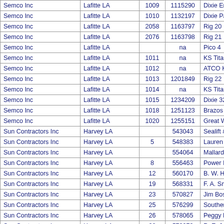| Company | Location | Col3 | Col4 | Vessel |
| --- | --- | --- | --- | --- |
| Semco Inc | Lafitte LA | 1009 | 1115290 | Dixie Endeavor |
| Semco Inc | Lafitte LA | 1010 | 1132197 | Dixie Patriot |
| Semco Inc | Lafitte LA | 2058 | 1163797 | Rig 20 |
| Semco Inc | Lafitte LA | 2076 | 1163798 | Rig 21 |
| Semco Inc | Lafitte LA |  | na | Pico 4 |
| Semco Inc | Lafitte LA | 1011 | na | KS Titan I |
| Semco Inc | Lafitte LA | 1012 | na | ATCO Khadija |
| Semco Inc | Lafitte LA | 1013 | 1201849 | Rig 22 |
| Semco Inc | Lafitte LA | 1014 | na | KS Titan II |
| Semco Inc | Lafitte LA | 1015 | 1234209 | Dixie 320 |
| Semco Inc | Lafitte LA | 1018 | 1251123 | Brazos |
| Semco Inc | Lafitte LA | 1020 | 1255151 | Great White |
| Sun Contractors Inc | Harvey LA |  | 543043 | Sealift #2 |
| Sun Contractors Inc | Harvey LA | 5 | 548383 | Lauren |
| Sun Contractors Inc | Harvey LA |  | 554064 | Mallard Rig 33 |
| Sun Contractors Inc | Harvey LA | 8 | 556463 | Power III |
| Sun Contractors Inc | Harvey LA | 12 | 560170 | B. W. Haley |
| Sun Contractors Inc | Harvey LA | 19 | 568331 | F. A. Smith |
| Sun Contractors Inc | Harvey LA | 23 | 570827 | Jim Bostock |
| Sun Contractors Inc | Harvey LA | 25 | 576299 | Southern Cross |
| Sun Contractors Inc | Harvey LA | 26 | 578065 | Peggy Prophet |
| Sun Contractors Inc | Harvey LA | 28 | 573973 | R. E. Johnson |
| Sun Contractors Inc | Harvey LA | 33 | 586514 | BAM I |